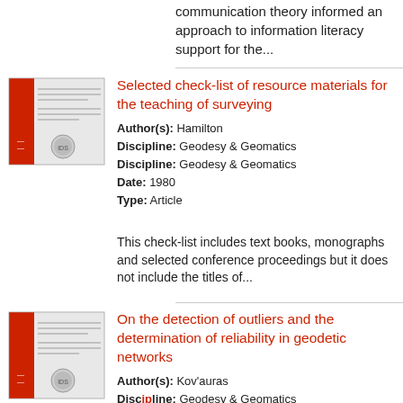communication theory informed an approach to information literacy support for the...
Selected check-list of resource materials for the teaching of surveying
Author(s): Hamilton
Discipline: Geodesy & Geomatics
Discipline: Geodesy & Geomatics
Date: 1980
Type: Article
This check-list includes text books, monographs and selected conference proceedings but it does not include the titles of...
On the detection of outliers and the determination of reliability in geodetic networks
Author(s): Kováčuras
Discipline: Geodesy & Geomatics